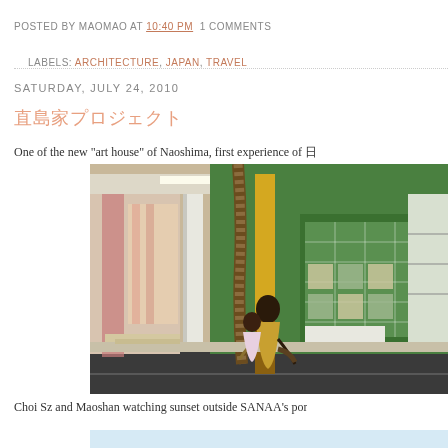POSTED BY MAOMAO AT 10:40 PM  1 COMMENTS
LABELS: ARCHITECTURE, JAPAN, TRAVEL
SATURDAY, JULY 24, 2010
直島家プロジェクト
One of the new "art house" of Naoshima, first experience of...
[Figure (photo): Photo of Choi Sz and Maoshan watching sunset outside SANAA's colorful art house building in Naoshima, Japan. The building has green walls with decorative mosaic tiles, yellow and white columns, and a palm tree in the foreground. Two people are posing near the tree on a street.]
Choi Sz and Maoshan watching sunset outside SANAA's por...
[Figure (other): Light blue bar at bottom of page, partial image]